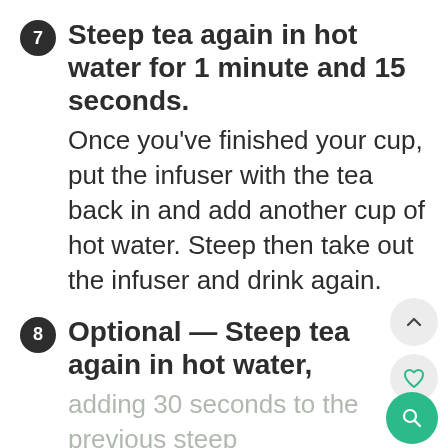7 Steep tea again in hot water for 1 minute and 15 seconds. Once you've finished your cup, put the infuser with the tea back in and add another cup of hot water. Steep then take out the infuser and drink again.
8 Optional — Steep tea again in hot water, adding 30 seconds to the previous steep